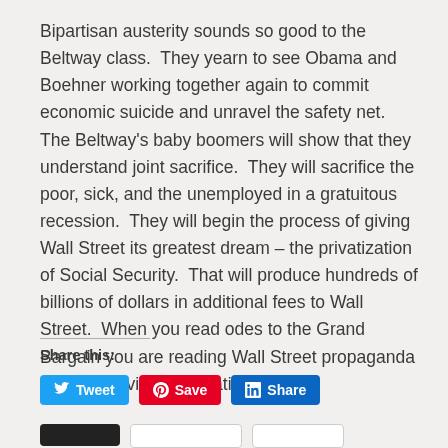Bipartisan austerity sounds so good to the Beltway class.  They yearn to see Obama and Boehner working together again to commit economic suicide and unravel the safety net.  The Beltway's baby boomers will show that they understand joint sacrifice.  They will sacrifice the poor, sick, and the unemployed in a gratuitous recession.  They will begin the process of giving Wall Street its greatest dream – the privatization of Social Security.  That will produce hundreds of billions of dollars in additional fees to Wall Street.  When you read odes to the Grand Bargain you are reading Wall Street propaganda (directly or via regurgitation).
Share this:
Tweet
Save
Share